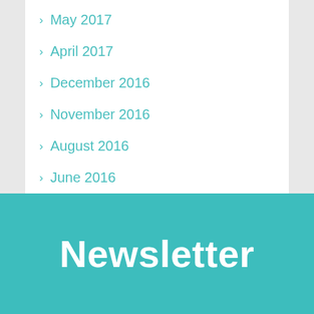May 2017
April 2017
December 2016
November 2016
August 2016
June 2016
March 2016
Newsletter